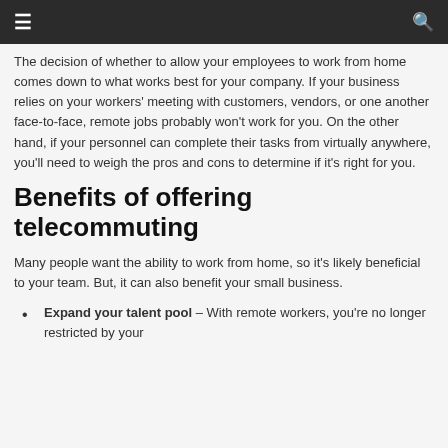might spend time at a local coffee shop or in a
The decision of whether to allow your employees to work from home comes down to what works best for your company. If your business relies on your workers' meeting with customers, vendors, or one another face-to-face, remote jobs probably won't work for you. On the other hand, if your personnel can complete their tasks from virtually anywhere, you'll need to weigh the pros and cons to determine if it's right for you.
Benefits of offering telecommuting
Many people want the ability to work from home, so it's likely beneficial to your team. But, it can also benefit your small business.
Expand your talent pool – With remote workers, you're no longer restricted by your